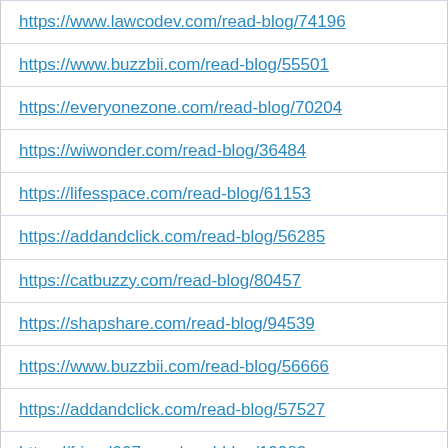| https://www.lawcodev.com/read-blog/74196 |
| https://www.buzzbii.com/read-blog/55501 |
| https://everyonezone.com/read-blog/70204 |
| https://wiwonder.com/read-blog/36484 |
| https://lifesspace.com/read-blog/61153 |
| https://addandclick.com/read-blog/56285 |
| https://catbuzzy.com/read-blog/80457 |
| https://shapshare.com/read-blog/94539 |
| https://www.buzzbii.com/read-blog/56666 |
| https://addandclick.com/read-blog/57527 |
| https://friend007.com/read-blog/19983 |
| https://corosocial.com/read-blog/79726 |
| https://corosocial.com/read-blog/79726 |
| http://enjoylahore.superweb.ws/post-premium- |